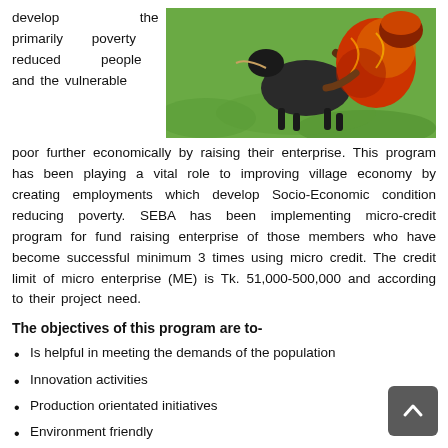develop the primarily poverty reduced people and the vulnerable
[Figure (photo): A woman in traditional colorful clothing crouching next to a goat on green grass]
poor further economically by raising their enterprise. This program has been playing a vital role to improving village economy by creating employments which develop Socio-Economic condition reducing poverty. SEBA has been implementing micro-credit program for fund raising enterprise of those members who have become successful minimum 3 times using micro credit. The credit limit of micro enterprise (ME) is Tk. 51,000-500,000 and according to their project need.
The objectives of this program are to-
Is helpful in meeting the demands of the population
Innovation activities
Production orientated initiatives
Environment friendly
Empowerment creation